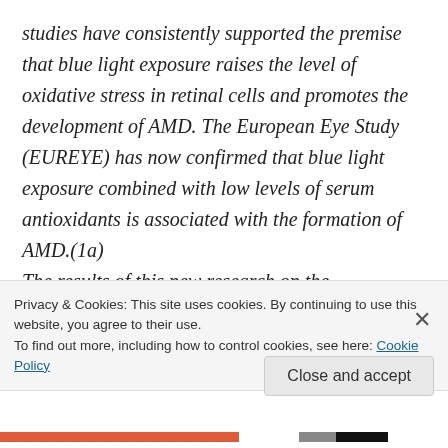studies have consistently supported the premise that blue light exposure raises the level of oxidative stress in retinal cells and promotes the development of AMD. The European Eye Study (EUREYE) has now confirmed that blue light exposure combined with low levels of serum antioxidants is associated with the formation of AMD.(1a)
The results of this new research on the pathogenesis of AMD provides compelling evidence that
Privacy & Cookies: This site uses cookies. By continuing to use this website, you agree to their use.
To find out more, including how to control cookies, see here: Cookie Policy
Close and accept